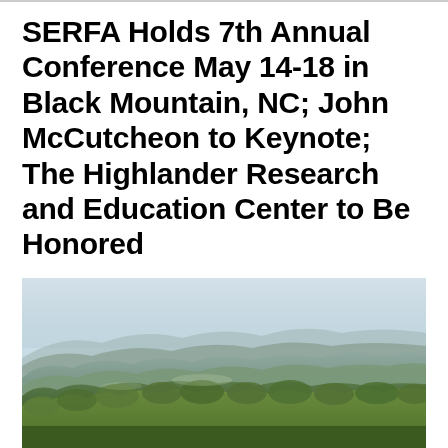SERFA Holds 7th Annual Conference May 14-18 in Black Mountain, NC; John McCutcheon to Keynote; The Highlander Research and Education Center to Be Honored
[Figure (photo): Panoramic landscape photograph showing rolling green forested hills and mountains under a hazy sky, typical of the Black Mountain, NC / Appalachian region.]